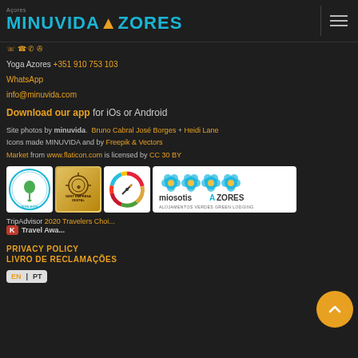MINUVIDA AZORES
Yoga Azores +351 910 753 103
WhatsApp
info@minuvida.com
Download our app for iOs or Android
Site photos by minuvida. Bruno Cabral José Borges + Heidi Lane
Icons made MINUVIDA and by Freepik & Vectors Market from www.flaticon.com is licensed by CC 30 BY
[Figure (logo): Four certification/partner logos: amb.ente, GEST EMPRESA DIGITAL, SDG compass, and MIOSOTIS AZORES ALOJAMENTOS VERDES GREEN LODGING]
TripAdvisor 2020 Travelers Choice K Travel Award
PRIVACY POLICY
LIVRO DE RECLAMAÇÕES
EN PT